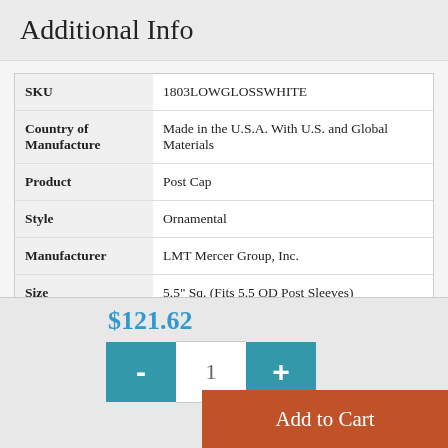Additional Info
|  |  |
| --- | --- |
| SKU | 1803LOWGLOSSWHITE |
| Country of Manufacture | Made in the U.S.A. With U.S. and Global Materials |
| Product | Post Cap |
| Style | Ornamental |
| Manufacturer | LMT Mercer Group, Inc. |
| Size | 5.5" Sq. (Fits 5.5 OD Post Sleeves) |
| Color | AZEK®/TimberTech® Coastal White |
$121.62
- 1 +
Add to Cart